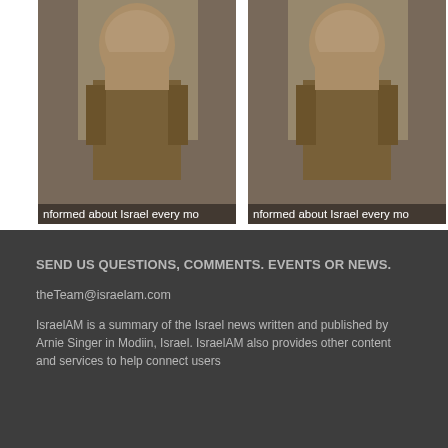[Figure (photo): Two side-by-side photos of a soldier in military uniform saluting, each with a caption bar reading 'nformed about Israel every mo']
SEND US QUESTIONS, COMMENTS. EVENTS OR NEWS.
theTeam@israelam.com
IsraelAM is a summary of the Israel news written and published by Arnie Singer in Modiin, Israel. IsraelAM also provides other content and services to help connect users